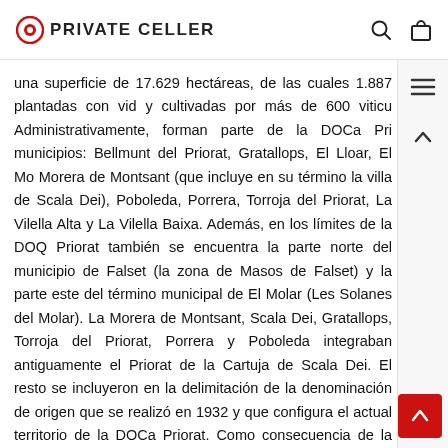PRIVATE CELLER
una superficie de 17.629 hectáreas, de las cuales 1.887 plantadas con vid y cultivadas por más de 600 viticu... Administrativamente, forman parte de la DOCa Pri... municipios: Bellmunt del Priorat, Gratallops, El Lloar, El Mo... Morera de Montsant (que incluye en su término la villa de Scala Dei), Poboleda, Porrera, Torroja del Priorat, La Vilella Alta y La Vilella Baixa. Además, en los límites de la DOQ Priorat también se encuentra la parte norte del municipio de Falset (la zona de Masos de Falset) y la parte este del término municipal de El Molar (Les Solanes del Molar). La Morera de Montsant, Scala Dei, Gratallops, Torroja del Priorat, Porrera y Poboleda integraban antiguamente el Priorat de la Cartuja de Scala Dei. El resto se incluyeron en la delimitación de la denominación de origen que se realizó en 1932 y que configura el actual territorio de la DOCa Priorat. Como consecuencia de la expansión del cultivo de la vid y de la calidad de sus vinos, promovido, impulsado y dob... do por los monjes cartujanos, la zona adquirió renombre mundial.